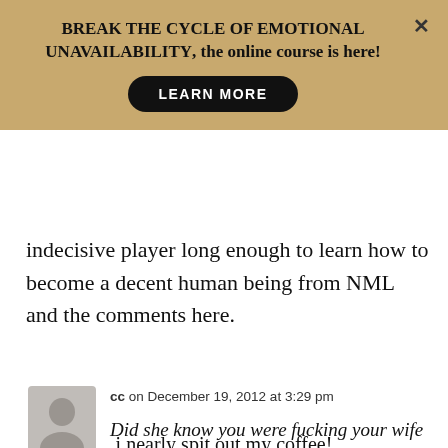BREAK THE CYCLE OF EMOTIONAL UNAVAILABILITY, the online course is here!
indecisive player long enough to learn how to become a decent human being from NML and the comments here.
cc on December 19, 2012 at 3:29 pm
Did she know you were fucking your wife for money?!!
i nearly spit out my coffee!